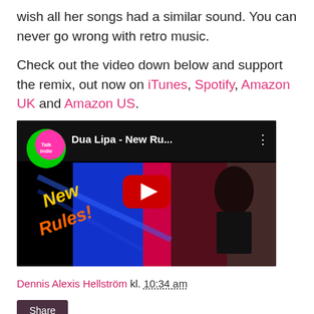wish all her songs had a similar sound. You can never go wrong with retro music.
Check out the video down below and support the remix, out now on iTunes, Spotify, Amazon UK and Amazon US.
[Figure (screenshot): YouTube video thumbnail for Dua Lipa - New Ru... showing channel icon (Talk Indie), video title, three-dot menu, colorful 'New Rules!' text, person in black outfit, red play button on black background.]
Dennis Alexis Hellström kl. 10:34 am
Share